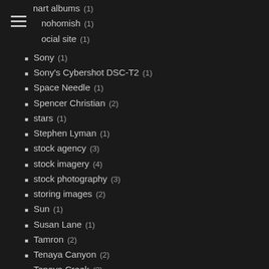nart albums (1)
nohomish (1)
ocial site (1)
Sony (1)
Sony's Cybershot DSC-T2 (1)
Space Needle (1)
Spencer Christian (2)
stars (1)
Stephen Lyman (1)
stock agency (3)
stock imagery (4)
stock photography (3)
storing images (2)
Sun (1)
Susan Lane (1)
Tamron (2)
Tenaya Canyon (2)
Tenaya Creek (2)
The BetterPhoto Guide to Exposure (12)
The BetterPhoto Guide to Exposures (1)
The BetterPhoto Summit (2)
The Candid Frame (1)
The Columbia Center (1)